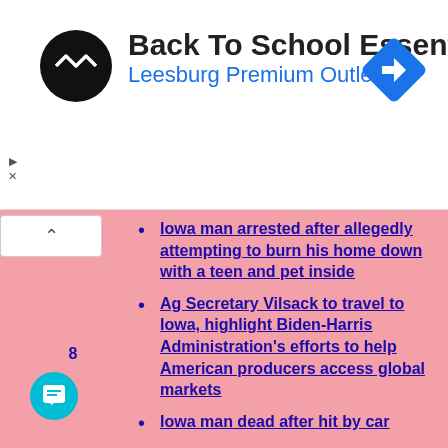[Figure (other): Advertisement banner for Back To School Essentials at Leesburg Premium Outlets with logo and navigation arrow icon]
Iowa man arrested after allegedly attempting to burn his home down with a teen and pet inside
Ag Secretary Vilsack to travel to Iowa, highlight Biden-Harris Administration's efforts to help American producers access global markets
Iowa man dead after hit by car
How Do Casinos Make Money on Poker?
Waterloo cops shoot and kill homeless man waving a gun
5 interesting facts you probably didn't know about roulette
NIACC Board of Directors to meet August 18, 2022
Iowa man dead in shooting